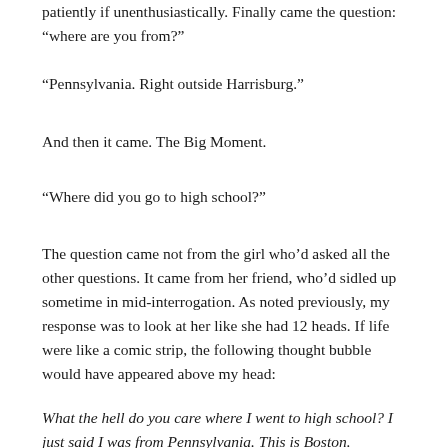patiently if unenthusiastically. Finally came the question: “where are you from?”
“Pennsylvania. Right outside Harrisburg.”
And then it came. The Big Moment.
“Where did you go to high school?”
The question came not from the girl who’d asked all the other questions. It came from her friend, who’d sidled up sometime in mid-interrogation. As noted previously, my response was to look at her like she had 12 heads. If life were like a comic strip, the following thought bubble would have appeared above my head:
What the hell do you care where I went to high school? I just said I was from Pennsylvania. This is Boston.